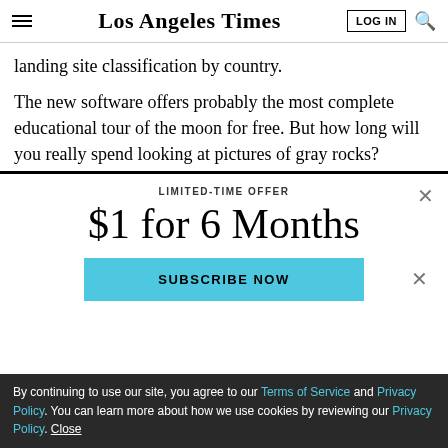Los Angeles Times
landing site classification by country.
The new software offers probably the most complete educational tour of the moon for free. But how long will you really spend looking at pictures of gray rocks?
LIMITED-TIME OFFER
$1 for 6 Months
SUBSCRIBE NOW
By continuing to use our site, you agree to our Terms of Service and Privacy Policy. You can learn more about how we use cookies by reviewing our Privacy Policy. Close